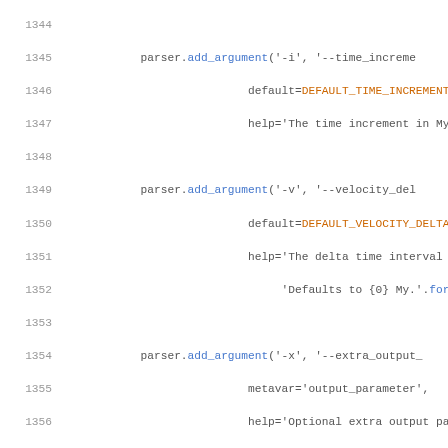[Figure (screenshot): Python source code listing showing parser.add_argument calls for command-line argument parsing, lines 1344-1366. Syntax-highlighted with blue method names, orange constants, and gray line numbers.]